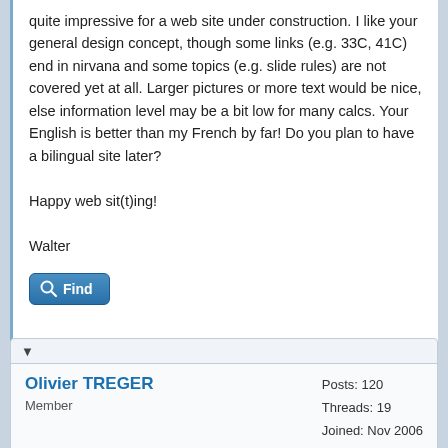quite impressive for a web site under construction. I like your general design concept, though some links (e.g. 33C, 41C) end in nirvana and some topics (e.g. slide rules) are not covered yet at all. Larger pictures or more text would be nice, else information level may be a bit low for many calcs. Your English is better than my French by far! Do you plan to have a bilingual site later?

Happy web sit(t)ing!

Walter
Find
Olivier TREGER
Member
Posts: 120
Threads: 19
Joined: Nov 2006
01-03-2009, 01:28 PM
#8
Quote: